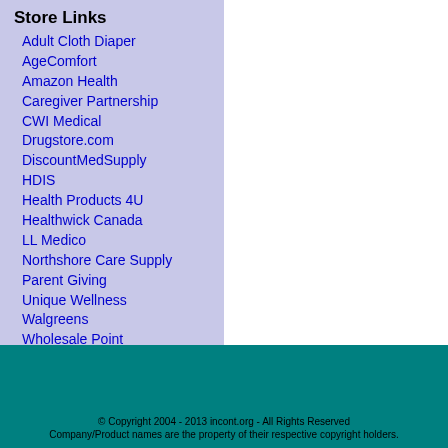Store Links
Adult Cloth Diaper
AgeComfort
Amazon Health
Caregiver Partnership
CWI Medical
Drugstore.com
DiscountMedSupply
HDIS
Health Products 4U
Healthwick Canada
LL Medico
Northshore Care Supply
Parent Giving
Unique Wellness
Walgreens
Wholesale Point
© Copyright 2004 - 2013 incont.org - All Rights Reserved Company/Product names are the property of their respective copyright holders.